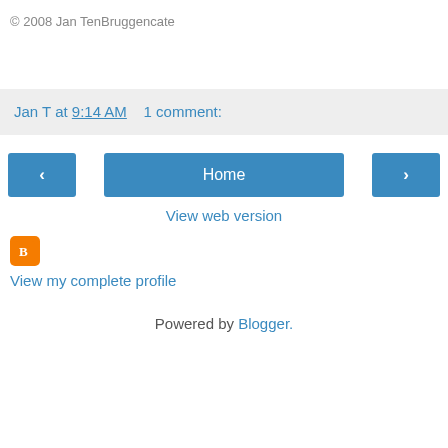© 2008 Jan TenBruggencate
Jan T at 9:14 AM    1 comment:
[Figure (other): Navigation buttons: left arrow, Home, right arrow, and View web version link]
[Figure (logo): Blogger orange rounded square icon]
View my complete profile
Powered by Blogger.